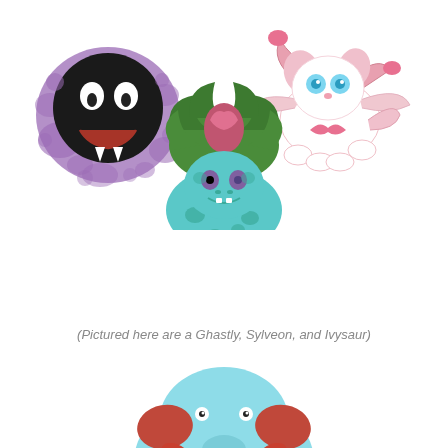[Figure (illustration): Three Pokemon illustrations arranged in two rows: top-left is Ghastly (a dark spherical ghost Pokemon surrounded by purple gas), top-right is Sylveon (a white fairy-type Pokemon with pink ribbons and blue eyes), and center is Ivysaur (a blue-green quadruped Pokemon with a large plant bulb and green leaves on its back).]
(Pictured here are a Ghastly, Sylveon, and Ivysaur)
[Figure (illustration): A partial illustration of a light blue elephant-like Pokemon (Mamoswine or similar) with red-orange tusks/hair, visible at the bottom of the page, cropped.]